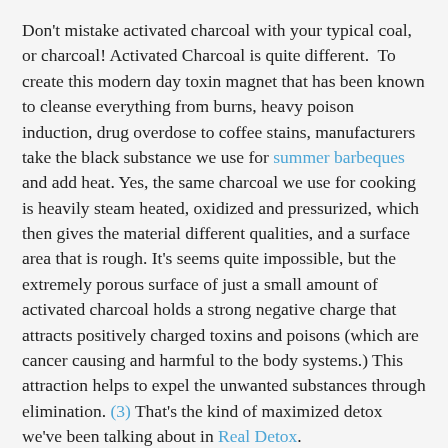Don't mistake activated charcoal with your typical coal, or charcoal! Activated Charcoal is quite different. To create this modern day toxin magnet that has been known to cleanse everything from burns, heavy poison induction, drug overdose to coffee stains, manufacturers take the black substance we use for summer barbeques and add heat. Yes, the same charcoal we use for cooking is heavily steam heated, oxidized and pressurized, which then gives the material different qualities, and a surface area that is rough. It's seems quite impossible, but the extremely porous surface of just a small amount of activated charcoal holds a strong negative charge that attracts positively charged toxins and poisons (which are cancer causing and harmful to the body systems.) This attraction helps to expel the unwanted substances through elimination. (3) That's the kind of maximized detox we've been talking about in Real Detox.
Several forms of activated charcoal are available to us